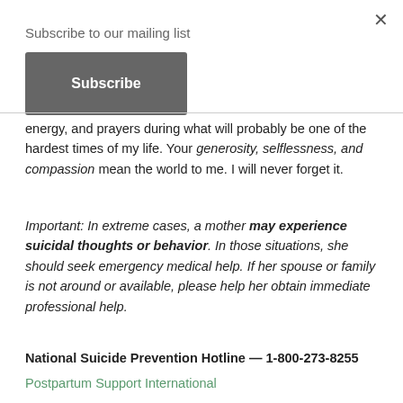Subscribe to our mailing list
Subscribe
energy, and prayers during what will probably be one of the hardest times of my life. Your generosity, selflessness, and compassion mean the world to me. I will never forget it.
Important: In extreme cases, a mother may experience suicidal thoughts or behavior. In those situations, she should seek emergency medical help. If her spouse or family is not around or available, please help her obtain immediate professional help.
National Suicide Prevention Hotline — 1-800-273-8255
Postpartum Support International